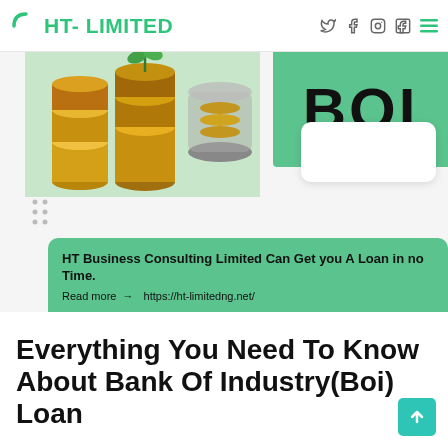HT-LIMITED
[Figure (infographic): Banner showing stacked coins with plant, a jar of coins, BOI logo on green background, and a white card overlay. Green card below reads: HT Business Consulting Limited Can Get you A Loan in no Time. Read more → https://ht-limitedng.net/]
Everything You Need To Know About Bank Of Industry(Boi) Loan